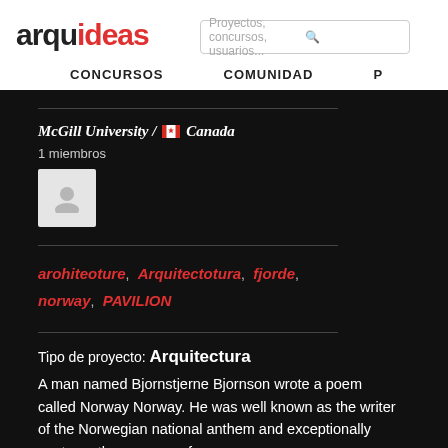arquideas
Proyectos, concursos, usuarios...
CONCURSOS   COMUNIDAD   P
McGill University / Canada
1 miembros
[Figure (illustration): User avatar placeholder icon in a light grey box]
arohiteoture, Arquitectotura, fjorde, norway, PAVILION
Tipo de proyecto: Arquitectura
A man named Bjornstjerne Bjornson wrote a poem called Norway Norway. He was well known as the writer of the Norwegian national anthem and exceptionally captures the essense of